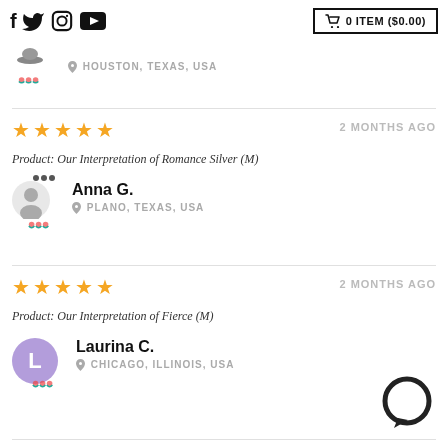Social icons: f, Twitter, Instagram, YouTube | 0 ITEM ($0.00)
HOUSTON, TEXAS, USA
★★★★★   2 MONTHS AGO
Product: Our Interpretation of Romance Silver (M)
Anna G.
PLANO, TEXAS, USA
★★★★★   2 MONTHS AGO
Product: Our Interpretation of Fierce (M)
Laurina C.
CHICAGO, ILLINOIS, USA